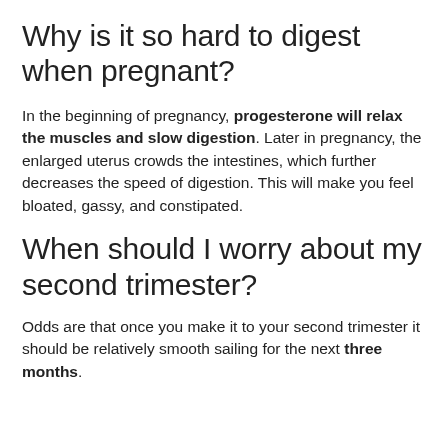Why is it so hard to digest when pregnant?
In the beginning of pregnancy, progesterone will relax the muscles and slow digestion. Later in pregnancy, the enlarged uterus crowds the intestines, which further decreases the speed of digestion. This will make you feel bloated, gassy, and constipated.
When should I worry about my second trimester?
Odds are that once you make it to your second trimester it should be relatively smooth sailing for the next three months.